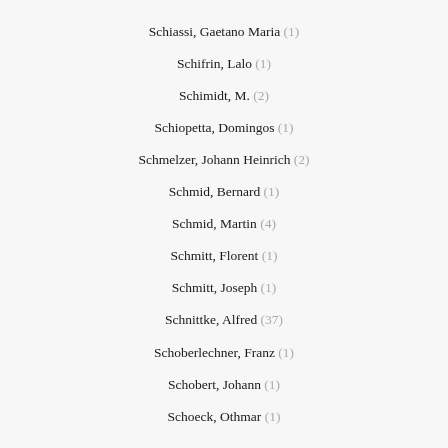Schiassi, Gaetano Maria (1)
Schifrin, Lalo (1)
Schimidt, M. (2)
Schiopetta, Domingos (1)
Schmelzer, Johann Heinrich (2)
Schmid, Bernard (1)
Schmid, Martin (4)
Schmitt, Florent (1)
Schmitt, Joseph (1)
Schnittke, Alfred (37)
Schoberlechner, Franz (1)
Schobert, Johann (1)
Schoeck, Othmar (1)